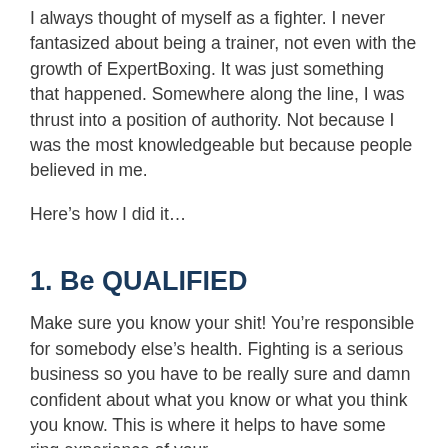I always thought of myself as a fighter. I never fantasized about being a trainer, not even with the growth of ExpertBoxing. It was just something that happened. Somewhere along the line, I was thrust into a position of authority. Not because I was the most knowledgeable but because people believed in me.
Here’s how I did it…
1. Be QUALIFIED
Make sure you know your shit! You’re responsible for somebody else’s health. Fighting is a serious business so you have to be really sure and damn confident about what you know or what you think you know. This is where it helps to have some ring experience of your